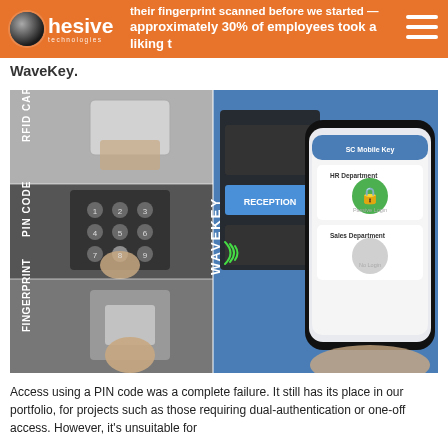Cohesive Technologies — their fingerprint scanned before we started — approximately 30% of employees took a liking to WaveKey.
approximately 30% of employees took a liking to WaveKey.
[Figure (photo): Comparison image showing access control methods: RFID Card (hand holding card to reader), PIN Code (hand entering code on keypad), Fingerprint (finger pressing fingerprint scanner), versus WaveKey (phone app with mobile key interface held near reader).]
Access using a PIN code was a complete failure. It still has its place in our portfolio, for projects such as those requiring dual-authentication or one-off access. However, it's unsuitable for employees, as the admin time is enormous for staff and it...